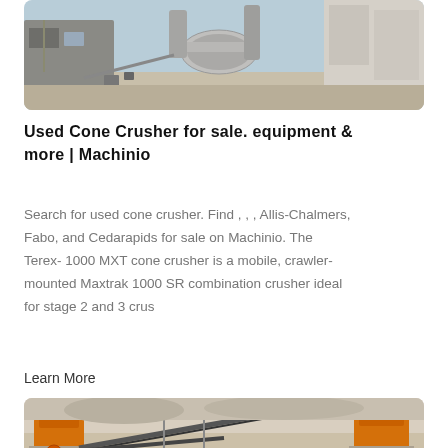[Figure (photo): Industrial crushing/asphalt plant facility with large cylindrical drum, conveyor belts, and storage silos at an outdoor industrial site]
Used Cone Crusher for sale. equipment & more | Machinio
Search for used cone crusher. Find , , , Allis-Chalmers, Fabo, and Cedarapids for sale on Machinio. The Terex- 1000 MXT cone crusher is a mobile, crawler-mounted Maxtrak 1000 SR combination crusher ideal for stage 2 and 3 crus
Learn More
[Figure (photo): Outdoor quarry/mining site with orange jaw crushers, conveyor belts, scaffolding and stone/gravel processing equipment]